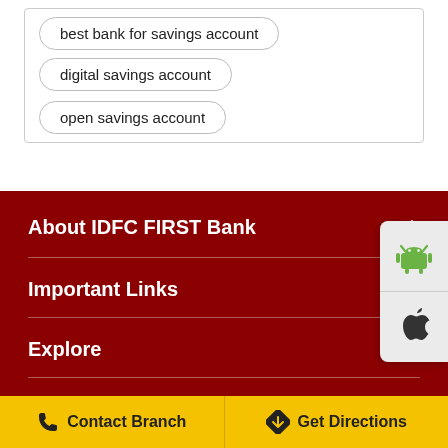best bank for savings account
digital savings account
open savings account
About IDFC FIRST Bank
Important Links
Explore
Other Links
[Figure (screenshot): Android and Apple app store icons panel on right side]
Contact Branch
Get Directions